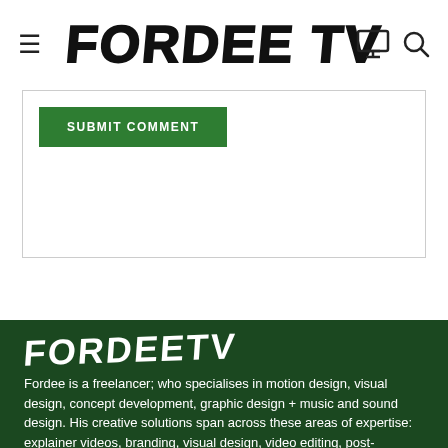FORDEE TV
SUBMIT COMMENT
[Figure (logo): FORDEETV logo in white graffiti-style font on dark green background]
Fordee is a freelancer; who specialises in motion design, visual design, concept development, graphic design + music and sound design. His creative solutions span across these areas of expertise: explainer videos, branding, visual design, video editing, post-production and graphic design.
Reach out, he'd love to hear about your next